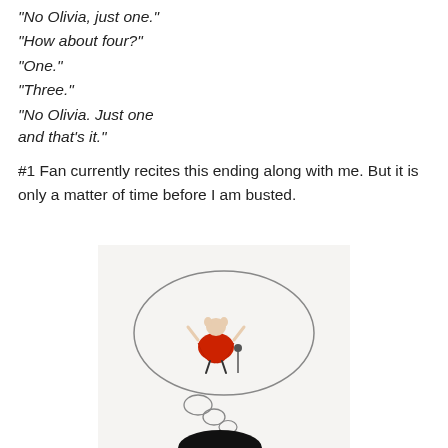“No Olivia, just one.”
“How about four?”
“One.”
“Three.”
“No Olivia. Just one and that’s it.”
#1 Fan currently recites this ending along with me. But it is only a matter of time before I am busted.
[Figure (illustration): Illustration from the children's book Olivia showing a pig character in a red cape performing on a thought bubble stage, with thought bubble circles below leading to a dark shape at the bottom.]